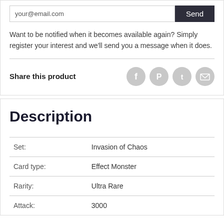your@email.com
Send
Want to be notified when it becomes available again? Simply register your interest and we'll send you a message when it does.
Share this product
[Figure (infographic): Four circular social sharing icons: Facebook, Pinterest, Twitter, Email]
Description
| Set: | Invasion of Chaos |
| Card type: | Effect Monster |
| Rarity: | Ultra Rare |
| Attack: | 3000 |